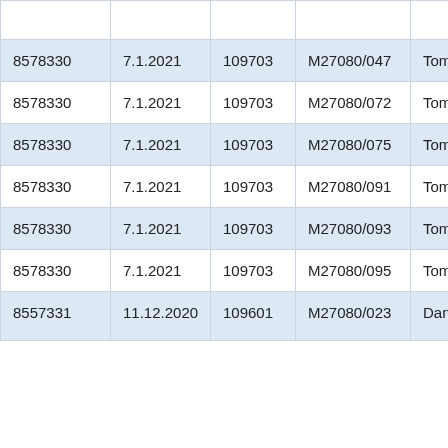| 8578330 | 7.1.2021 | 109703 | M27080/047 | Tomoyuki Saito | T5... |
| 8578330 | 7.1.2021 | 109703 | M27080/072 | Tomoyuki Saito | T5... |
| 8578330 | 7.1.2021 | 109703 | M27080/075 | Tomoyuki Saito | T5... |
| 8578330 | 7.1.2021 | 109703 | M27080/091 | Tomoyuki Saito | T5... |
| 8578330 | 7.1.2021 | 109703 | M27080/093 | Tomoyuki Saito | T5... |
| 8578330 | 7.1.2021 | 109703 | M27080/095 | Tomoyuki Saito | T5... |
| 8557331 | 11.12.2020 | 109601 | M27080/023 | Daniil... | T5... |